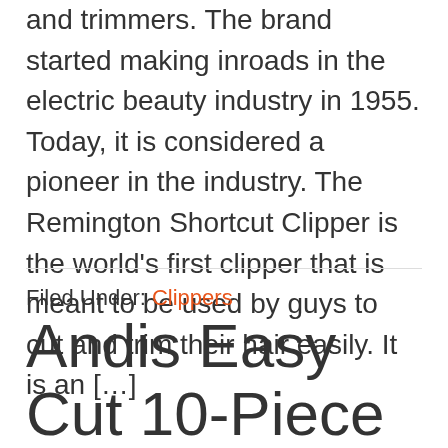and trimmers. The brand started making inroads in the electric beauty industry in 1955. Today, it is considered a pioneer in the industry. The Remington Shortcut Clipper is the world's first clipper that is meant to be used by guys to cut and trim their hair easily. It is an […]
Filed Under: Clippers
Andis Easy Cut 10-Piece